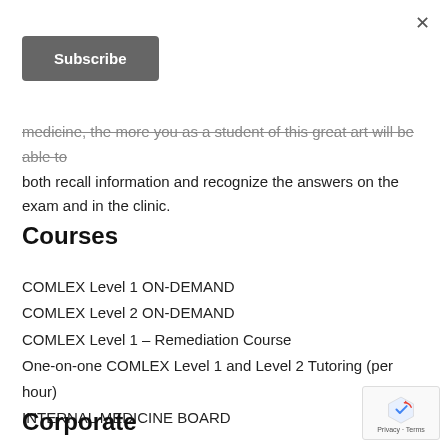×
Subscribe
medicine, the more you as a student of this great art will be able to both recall information and recognize the answers on the exam and in the clinic.
Courses
COMLEX Level 1 ON-DEMAND
COMLEX Level 2 ON-DEMAND
COMLEX Level 1 – Remediation Course
One-on-one COMLEX Level 1 and Level 2 Tutoring (per hour)
INTERNAL MEDICINE BOARD
Corporate